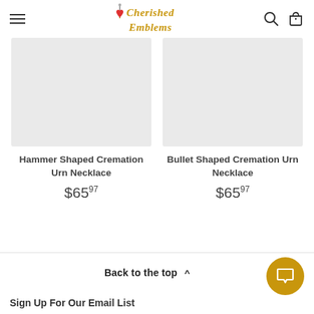Cherished Emblems
[Figure (other): Product image placeholder for Hammer Shaped Cremation Urn Necklace (gray rectangle)]
Hammer Shaped Cremation Urn Necklace
$65.97
[Figure (other): Product image placeholder for Bullet Shaped Cremation Urn Necklace (gray rectangle)]
Bullet Shaped Cremation Urn Necklace
$65.97
Back to the top ^  Sign Up For Our Email List